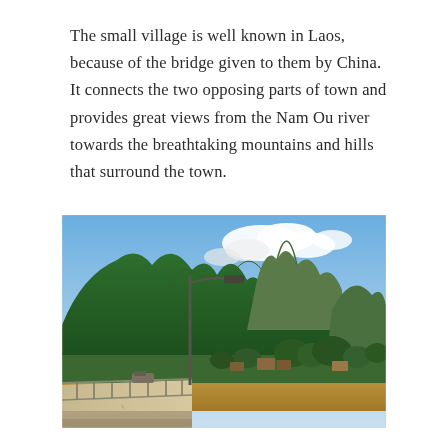The small village is well known in Laos, because of the bridge given to them by China. It connects the two opposing parts of town and provides great views from the Nam Ou river towards the breathtaking mountains and hills that surround the town.
[Figure (photo): A view from a bridge over a muddy river (Nam Ou) in Laos, with a street lamp in the center foreground, lush green forested limestone mountains in the background, blue sky with white clouds, and a small town visible on the far riverbank with houses and trees.]